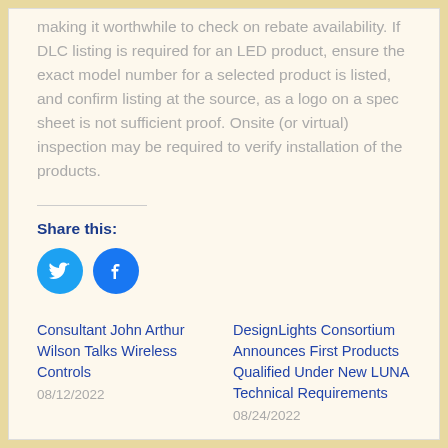making it worthwhile to check on rebate availability. If DLC listing is required for an LED product, ensure the exact model number for a selected product is listed, and confirm listing at the source, as a logo on a spec sheet is not sufficient proof. Onsite (or virtual) inspection may be required to verify installation of the products.
Share this:
[Figure (illustration): Twitter and Facebook social sharing icon buttons (circular blue icons)]
Consultant John Arthur Wilson Talks Wireless Controls 08/12/2022
DesignLights Consortium Announces First Products Qualified Under New LUNA Technical Requirements 08/24/2022